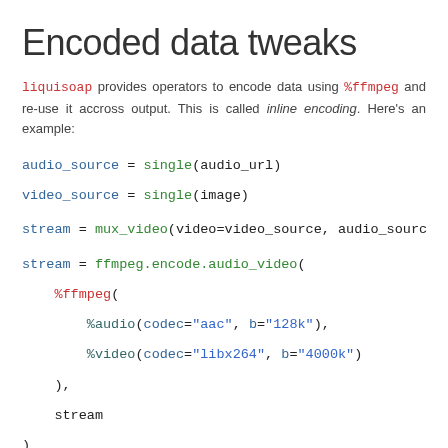Encoded data tweaks
liquisoap provides operators to encode data using %ffmpeg and re-use it accross output. This is called inline encoding. Here's an example:
audio_source = single(audio_url)
video_source = single(image)

stream = mux_video(video=video_source, audio_sourc

stream = ffmpeg.encode.audio_video(
    %ffmpeg(
        %audio(codec="aac", b="128k"),
        %video(codec="libx264", b="4000k")
    ),
    stream
)